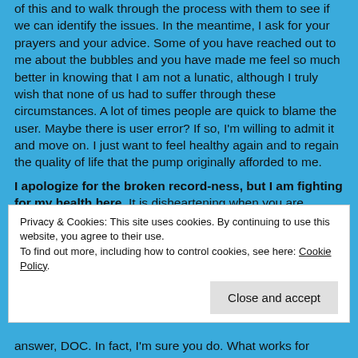of this and to walk through the process with them to see if we can identify the issues. In the meantime, I ask for your prayers and your advice.  Some of you have reached out to me about the bubbles and you have made me feel so much better in knowing that I am not a lunatic, although I truly wish that none of us had to suffer through these circumstances.  A lot of times people are quick to blame the user.  Maybe there is user error?  If so, I'm willing to admit it and move on. I just want to feel healthy again and to regain the quality of life that the pump originally afforded to me.
I apologize for the broken record-ness, but I am fighting for my health here.  It is disheartening when you are making big strides in your diabetes
Privacy & Cookies: This site uses cookies. By continuing to use this website, you agree to their use.
To find out more, including how to control cookies, see here: Cookie Policy
answer, DOC.  In fact, I'm sure you do.  What works for